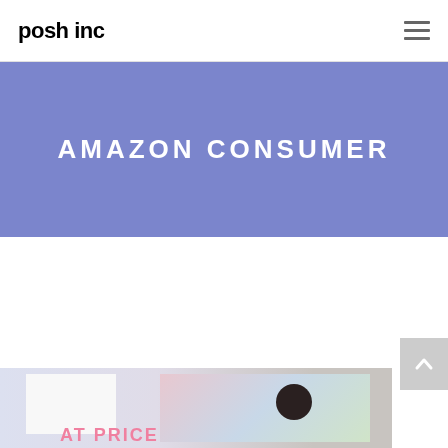posh inc
AMAZON CONSUMER
[Figure (photo): Article card preview at bottom of page showing a person holding a sign with 'AT PRICE' text visible, partially cropped]
[Figure (other): Scroll-to-top button (light grey square with upward chevron arrow) on right side]